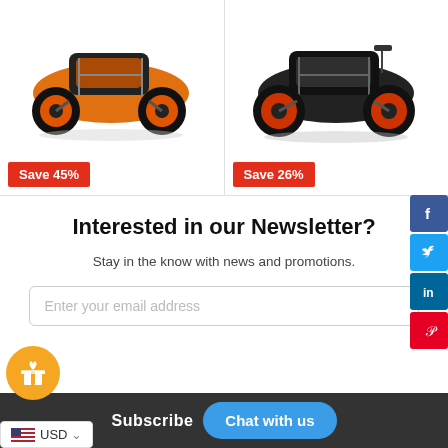[Figure (photo): Orange RC buggy car product photo]
Save 45%
[Figure (photo): Black and orange RC buggy car product photo]
Save 26%
Interested in our Newsletter?
Stay in the know with news and promotions.
Enter your email address
Subscribe
Chat with us
USD